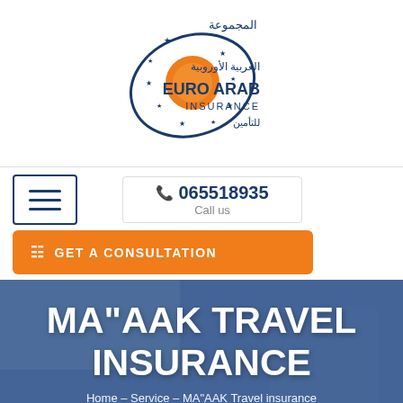[Figure (logo): Euro Arab Insurance Group logo with orange sun/circle, blue arc, Arabic text المجموعة العربية الأوروبية للتأمين, and EURO ARAB INSURANCE text]
065518935
Call us
GET A CONSULTATION
MA"AAK TRAVEL INSURANCE
Home – Service – MA"AAK Travel insurance